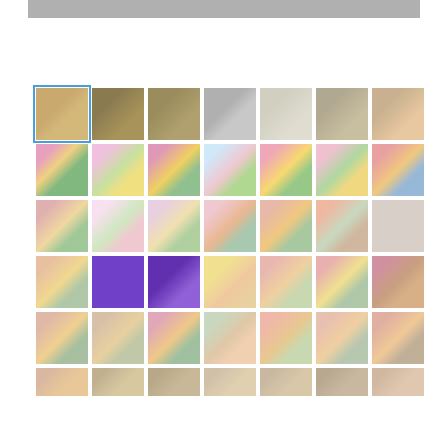[Figure (photo): E-commerce product listing page showing a grid of thumbnail images of decorative ceramic/porcelain floral items. The first thumbnail in the top row is selected (highlighted with blue border). Thumbnails show various angles and close-ups of ornate floral porcelain pieces, including some under UV/black light (purple thumbnails). A scroll-to-top button appears at bottom right.]